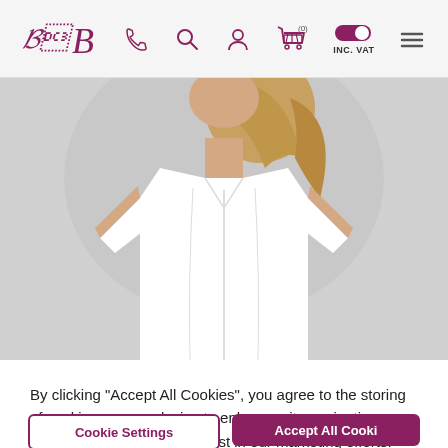Navigation bar with logo, phone, search, account, cart (0), INC. VAT toggle, and menu icons
[Figure (photo): A woman wearing a white fitted short-sleeve medical/spa tunic with a front zipper, photographed from the chest down. The garment is a form-fitting white uniform dress.]
By clicking "Accept All Cookies", you agree to the storing of cookies on your device to enhance site navigation, analyze site usage, and assist in our marketing efforts.
Cookie Settings | Accept All Cookies